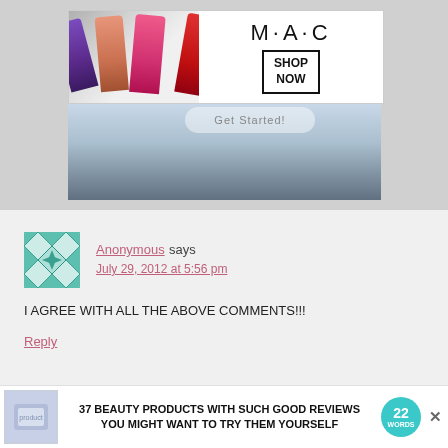[Figure (photo): MAC cosmetics advertisement banner with lipsticks (purple, peach, pink, red) and SHOP NOW button]
[Figure (photo): Hero image showing a person in blue, partially obscured by MAC ad, with a 'Get Started!' button overlay]
Anonymous says
July 29, 2012 at 5:56 pm
I AGREE WITH ALL THE ABOVE COMMENTS!!!
Reply
CLOSE
[Figure (infographic): Bottom advertisement: '37 BEAUTY PRODUCTS WITH SUCH GOOD REVIEWS YOU MIGHT WANT TO TRY THEM YOURSELF' with a product image and 22 Words badge]